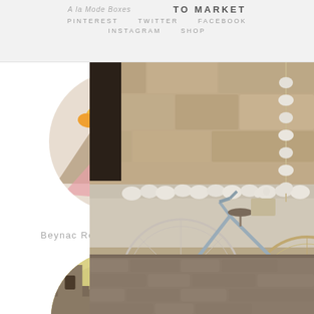A La Mode Boxes   TO MARKET   PINTEREST   TWITTER   FACEBOOK   INSTAGRAM   SHOP
[Figure (photo): Circular cropped photo of kraft paper triangle boxes with colorful popsicle sticks and utensils on a light background]
Beynac Renovation
[Figure (photo): Circular cropped photo of a stone castle/chateau with a dramatic green and yellow landscape and cloudy sky]
[Figure (photo): Right half of page: a vintage light blue bicycle leaning against a stone wall at a market, with garlic bulbs on a table covered with grey linen]